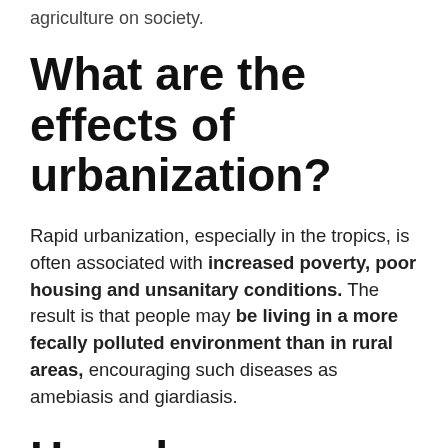agriculture on society.
What are the effects of urbanization?
Rapid urbanization, especially in the tropics, is often associated with increased poverty, poor housing and unsanitary conditions. The result is that people may be living in a more fecally polluted environment than in rural areas, encouraging such diseases as amebiasis and giardiasis.
How does agriculture affect humans?